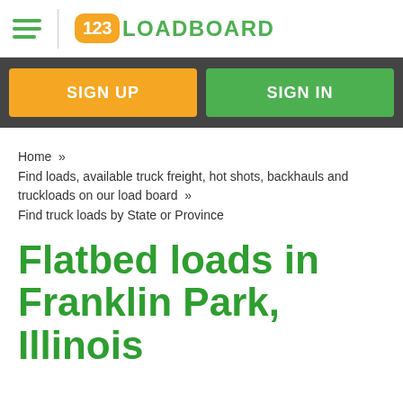123LOADBOARD
SIGN UP   SIGN IN
Home  »  Find loads, available truck freight, hot shots, backhauls and truckloads on our load board  »  Find truck loads by State or Province
Flatbed loads in Franklin Park, Illinois